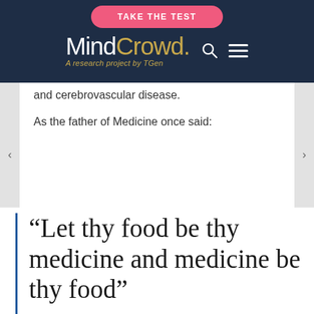TAKE THE TEST — MindCrowd. A research project by TGen
and cerebrovascular disease.
As the father of Medicine once said:
“Let thy food be thy medicine and medicine be thy food”